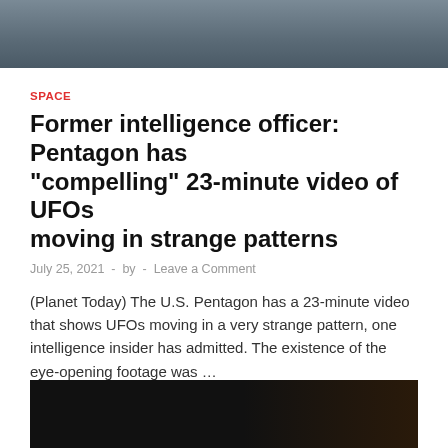[Figure (photo): Aerial or satellite image, dark grayish-blue tones, partial view at top of page]
SPACE
Former intelligence officer: Pentagon has “ompelling” 23-minute video of UFOs moving in strange patterns
July 25, 2021  -  by  -  Leave a Comment
(Planet Today) The U.S. Pentagon has a 23-minute video that shows UFOs moving in a very strange pattern, one intelligence insider has admitted. The existence of the eye-opening footage was …
READ MORE
[Figure (photo): Dark image, bottom portion partially visible, dark background with slight warm gradient on right]